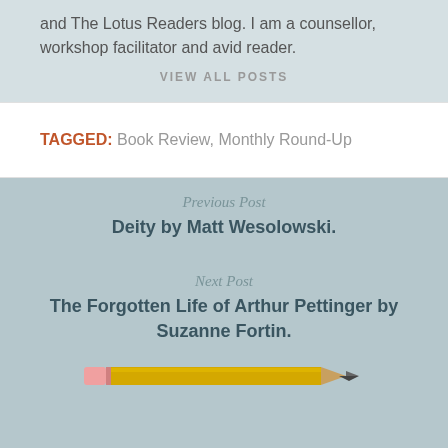and The Lotus Readers blog. I am a counsellor, workshop facilitator and avid reader.
VIEW ALL POSTS
TAGGED: Book Review, Monthly Round-Up
Previous Post
Deity by Matt Wesolowski.
Next Post
The Forgotten Life of Arthur Pettinger by Suzanne Fortin.
[Figure (illustration): A yellow pencil illustration at the bottom of the page]